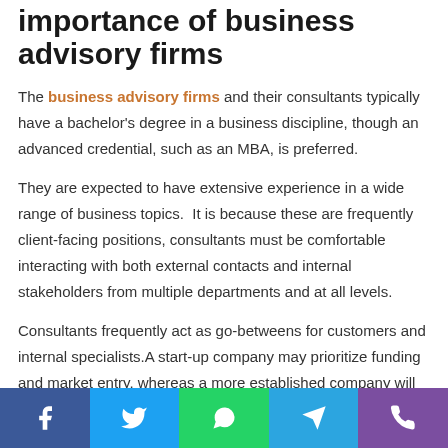importance of business advisory firms
The business advisory firms and their consultants typically have a bachelor's degree in a business discipline, though an advanced credential, such as an MBA, is preferred.
They are expected to have extensive experience in a wide range of business topics.  It is because these are frequently client-facing positions, consultants must be comfortable interacting with both external contacts and internal stakeholders from multiple departments and at all levels.
Consultants frequently act as go-betweens for customers and internal specialists.A start-up company may prioritize funding and market entry, whereas a more established company will